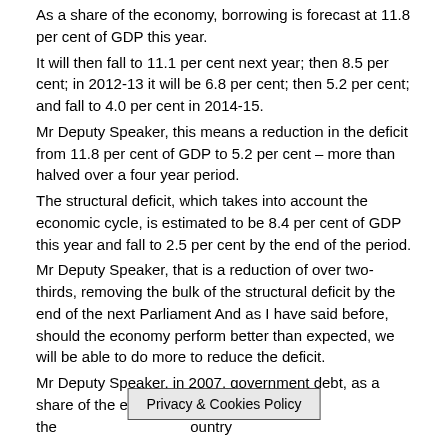As a share of the economy, borrowing is forecast at 11.8 per cent of GDP this year.
It will then fall to 11.1 per cent next year; then 8.5 per cent; in 2012-13 it will be 6.8 per cent; then 5.2 per cent; and fall to 4.0 per cent in 2014-15.
Mr Deputy Speaker, this means a reduction in the deficit from 11.8 per cent of GDP to 5.2 per cent – more than halved over a four year period.
The structural deficit, which takes into account the economic cycle, is estimated to be 8.4 per cent of GDP this year and fall to 2.5 per cent by the end of the period.
Mr Deputy Speaker, that is a reduction of over two-thirds, removing the bulk of the structural deficit by the end of the next Parliament And as I have said before, should the economy perform better than expected, we will be able to do more to reduce the deficit.
Mr Deputy Speaker, in 2007, government debt, as a share of the economy, was lower in the [Privacy & Cookies Policy] ountry